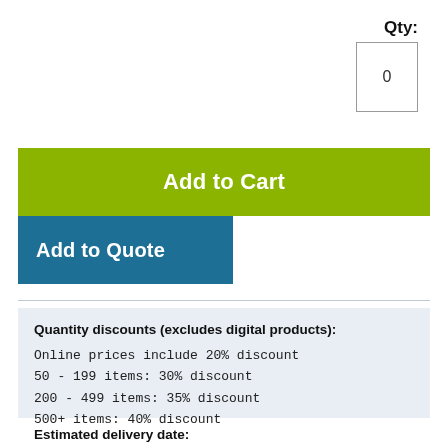Qty:
0
Add to Cart
Add to Quote
Quantity discounts (excludes digital products):
Online prices include 20% discount
50 - 199 items: 30% discount
200 - 499 items: 35% discount
500+ items: 40% discount
Estimated delivery date: